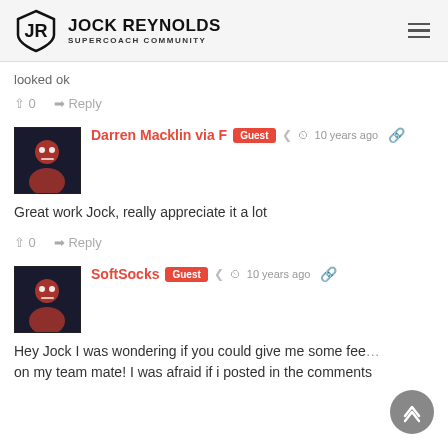Jock Reynolds Supercoach Community
looked ok
↑ 0   ➜ Reply
Darren Macklin via F [Guest] 10 years ago
Great work Jock, really appreciate it a lot
↑ 0   ➜ Reply
SoftSocks [Guest] 10 years ago
Hey Jock I was wondering if you could give me some feedback on my team mate! I was afraid if i posted in the comments